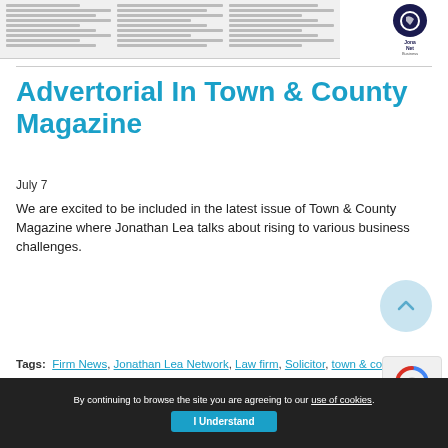[Figure (screenshot): Thumbnail of a magazine article with columns of text and a Jonathan Lea Network logo in the top right]
Advertorial In Town & County Magazine
July 7
We are excited to be included in the latest issue of Town & County Magazine where Jonathan Lea talks about rising to various business challenges.
Read More »
Tags: Firm News, Jonathan Lea Network, Law firm, Solicitor, town & county magazine
By continuing to browse the site you are agreeing to our use of cookies. I Understand